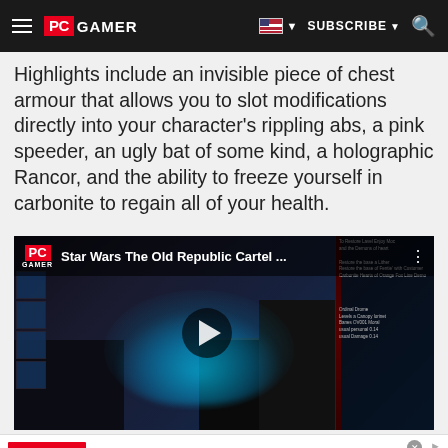PC GAMER — SUBSCRIBE
Highlights include an invisible piece of chest armour that allows you to slot modifications directly into your character's rippling abs, a pink speeder, an ugly bat of some kind, a holographic Rancor, and the ability to freeze yourself in carbonite to regain all of your health.
[Figure (screenshot): Video thumbnail for 'Star Wars The Old Republic Cartel...' showing a holographic creature in a game environment with PC Gamer branding and a play button overlay]
[Figure (other): Advertisement for Official NFL Gear showing 50% off promotion with nflshop.com URL and a blue arrow button]